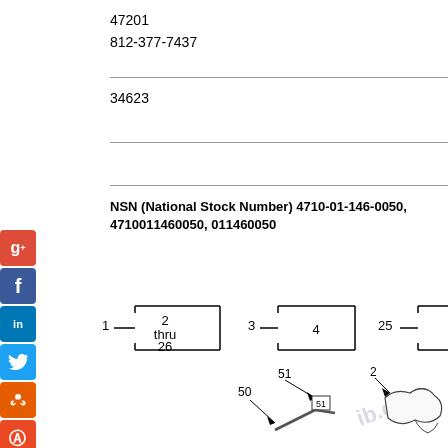47201
812-377-7437
34623
NSN (National Stock Number) 4710-01-146-0050, 4710011460050, 011460050
[Figure (schematic): Schematic diagram showing numbered component boxes. Box labeled '1' connects to a box containing '2 thru 26'. Box labeled '3' connects to a box containing '4'. Box labeled '25' connects to a box containing '26'. Below: engineering parts diagram with items numbered 50, 51, 2, 3 with arrows pointing to components.]